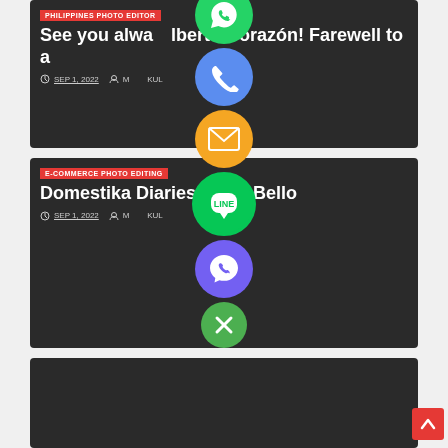[Figure (screenshot): Website article listing with social share widget overlay. Two article cards visible: 1) 'PHILIPPINES PHOTO EDITOR' category, title 'See you always Alberto Corazón! Farewell to a', dated SEP 1, 2022. 2) 'E-COMMERCE PHOTO EDITING' category, title 'Domestika Diaries: Caro Bello', dated SEP 1, 2022. Social share buttons (WhatsApp green, phone blue, email orange, LINE green, Viber purple, close green X) overlay the cards. Red scroll-to-top button bottom right.]